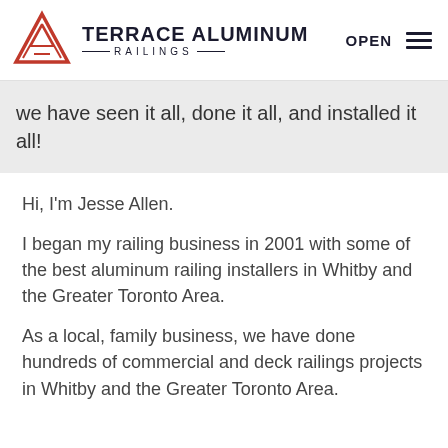[Figure (logo): Terrace Aluminum Railings logo with a red triangular mountain/triangle icon on the left and bold text 'TERRACE ALUMINUM' with 'RAILINGS' below in smaller spaced letters. Navigation shows 'OPEN' and hamburger menu on the right.]
we have seen it all, done it all, and installed it all!
Hi, I'm Jesse Allen.
I began my railing business in 2001 with some of the best aluminum railing installers in Whitby and the Greater Toronto Area.
As a local, family business, we have done hundreds of commercial and deck railings projects in Whitby and the Greater Toronto Area.